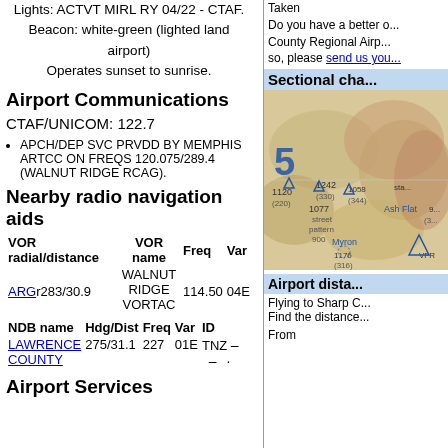Lights: ACTVT MIRL RY 04/22 - CTAF.
Beacon: white-green (lighted land airport)
Operates sunset to sunrise.
Airport Communications
CTAF/UNICOM: 122.7
APCH/DEP SVC PRVDD BY MEMPHIS ARTCC ON FREQS 120.075/289.4 (WALNUT RIDGE RCAG).
Nearby radio navigation aids
| VOR radial/distance | VOR name | Freq | Var |
| --- | --- | --- | --- |
| ARGr283/30.9 | WALNUT RIDGE VORTAC | 114.50 | 04E |
| NDB name | Hdg/Dist | Freq | Var | ID |
| --- | --- | --- | --- | --- |
| LAWRENCE COUNTY | 275/31.1 | 227 | 01E | TNZ |
Airport Services
Taken
Do you have a better o... County Regional Airp... so, please send us you...
Sectional cha...
[Figure (map): Sectional aeronautical chart showing Sharp County Regional Airport area with terrain, elevations, and navigation symbols]
Airport dista...
Flying to Sharp C... Find the distance...
From